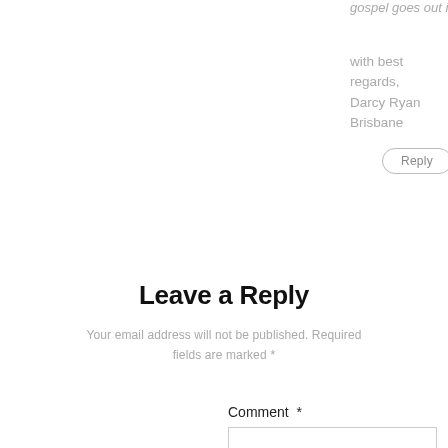gospel goes out in your country.
with best regards,
Darcy Ryan
Brisbane
Reply
Leave a Reply
Your email address will not be published. Required fields are marked *
Comment *